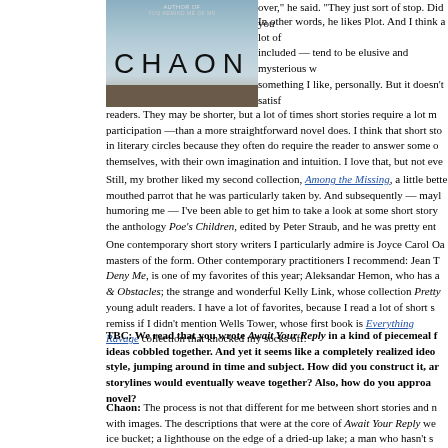[Figure (photo): Book cover for 'CHAON' with sky/water background and text 'YOU REMIND ME OF ME' at top]
over, he said. "They just sort of stop. Did you
In other words, he likes Plot. And I think a lot of readers — myself included — tend to be elusive and mysterious w something I like, personally. But it doesn't satisfy readers. They may be shorter, but a lot of times short stories require a lot m participation —than a more straightforward novel does. I think that short sto in literary circles because they often do require the reader to answer some o themselves, with their own imagination and intuition. I love that, but not eve
Still, my brother liked my second collection, Among the Missing, a little bette mouthed parrot that he was particularly taken by. And subsequently — mayl humoring me — I've been able to get him to take a look at some short story the anthology Poe's Children, edited by Peter Straub, and he was pretty ent
One contemporary short story writers I particularly admire is Joyce Carol Oa masters of the form. Other contemporary practitioners I recommend: Jean T Deny Me, is one of my favorites of this year; Aleksandar Hemon, who has a & Obstacles; the strange and wonderful Kelly Link, whose collection Pretty young adult readers. I have a lot of favorites, because I read a lot of short s remiss if I didn't mention Wells Tower, whose first book is Everything Ravage collection that knocked my socks off.
TBC: We read that you wrote Await Your Reply in a kind of piecemeal f ideas cobbled together. And yet it seems like a completely realized ideo style, jumping around in time and subject. How did you construct it, ar storylines would eventually weave together? Also, how do you approa novel?
Chaon: The process is not that different for me between short stories and n with images. The descriptions that were at the core of Await Your Reply we ice bucket; a lighthouse on the edge of a dried-up lake; a man who hasn't s highway, an air-freshener hanging from the rear-view mirror, turning in the b an Egyptian pyramid.